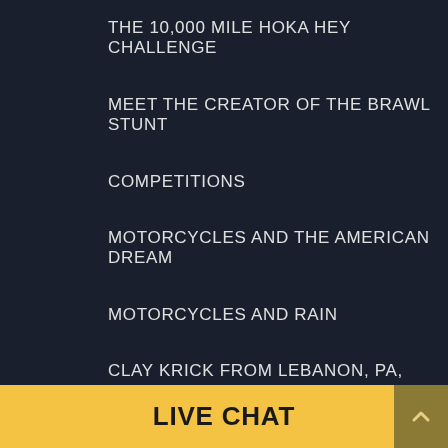THE 10,000 MILE HOKA HEY CHALLENGE
MEET THE CREATOR OF THE BRAWL STUNT
COMPETITIONS
MOTORCYCLES AND THE AMERICAN DREAM
MOTORCYCLES AND RAIN
CLAY KRICK FROM LEBANON, PA, WINS 2022
LIVE CHAT